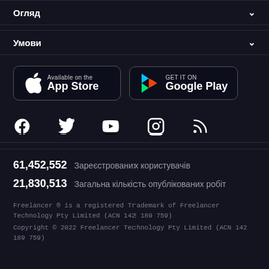Огляд
Умови
[Figure (screenshot): App Store and Google Play download buttons]
[Figure (infographic): Social media icons: Facebook, Twitter, YouTube, Instagram, RSS]
61,452,552  Зареєстрованих користувачів
21,830,513  Загальна кількість опублікованих робіт
Freelancer ® is a registered Trademark of Freelancer Technology Pty Limited (ACN 142 189 759)
Copyright © 2022 Freelancer Technology Pty Limited (ACN 142 189 759)